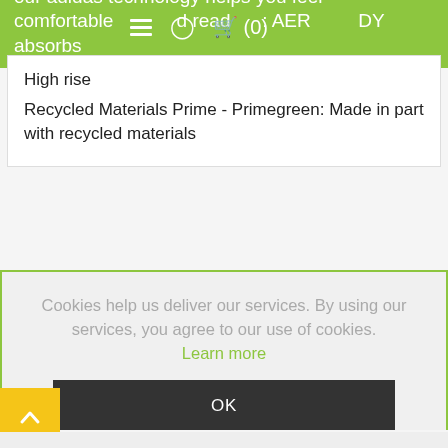our adidas technology helps you feel comfortable and ready. AEROREADY absorbs moisture and makes you feel dry
High rise
Recycled Materials Prime - Primegreen: Made in part with recycled materials
Cookies help us deliver our services. By using our services, you agree to our use of cookies. Learn more
OK
BOUGHT THESE